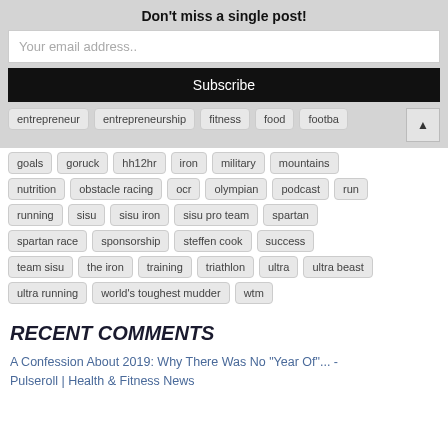Don't miss a single post!
Your email address..
Subscribe
entrepreneur, entrepreneurship, fitness, food, footba...
goals, goruck, hh12hr, iron, military, mountains
nutrition, obstacle racing, ocr, olympian, podcast, run
running, sisu, sisu iron, sisu pro team, spartan
spartan race, sponsorship, steffen cook, success
team sisu, the iron, training, triathlon, ultra, ultra beast
ultra running, world's toughest mudder, wtm
RECENT COMMENTS
A Confession About 2019: Why There Was No “Year Of”... - Pulseroll | Health & Fitness News